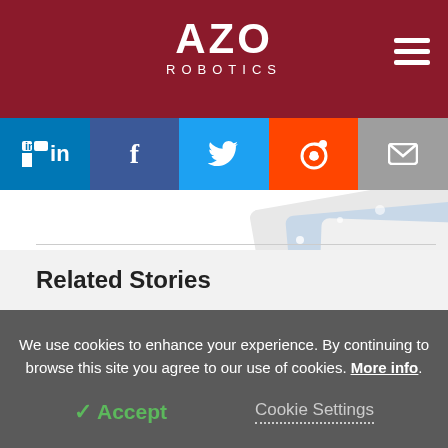AZO ROBOTICS
[Figure (screenshot): AZO Robotics branded promotional cards/materials with holiday decoration]
Related Stories
We use cookies to enhance your experience. By continuing to browse this site you agree to our use of cookies. More info.
✓ Accept
Cookie Settings